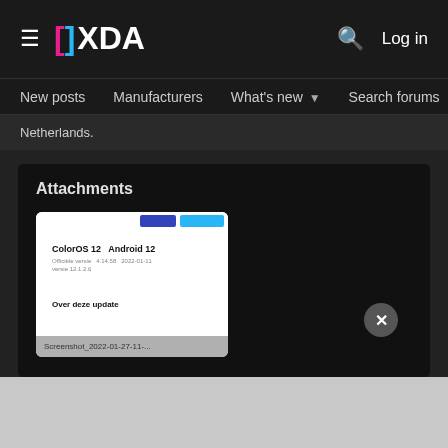XDA — Log in
New posts  Manufacturers  What's new  Search forums  Membe  >
Netherlands.
Attachments
[Figure (screenshot): Screenshot of a ColorOS 12 Android 12 update screen showing 'Over deze update' (About this update) section. A screenshot thumbnail card showing ColorOS 12 / Android 12 with official version 4.14.58 dated 2022-01-11, with 'Over deze update' label and filename 'Screenshot_2022-01-27-11-...' at the bottom.]